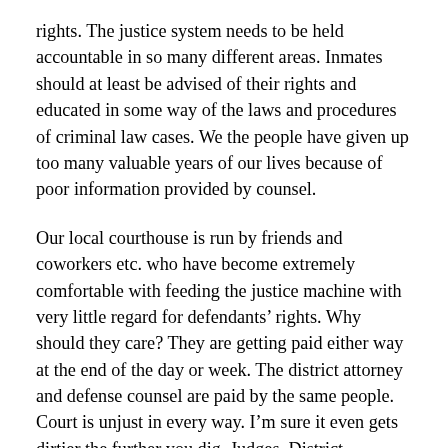rights. The justice system needs to be held accountable in so many different areas. Inmates should at least be advised of their rights and educated in some way of the laws and procedures of criminal law cases. We the people have given up too many valuable years of our lives because of poor information provided by counsel.
Our local courthouse is run by friends and coworkers etc. who have become extremely comfortable with feeding the justice machine with very little regard for defendants' rights. Why should they care? They are getting paid either way at the end of the day or week. The district attorney and defense counsel are paid by the same people. Court is unjust in every way. I'm sure it even gets dirtier the further you dig. Judges, District Attorneys, defense counsel, sheriffs, city cops need to be accountable to someone. Not just covering for each other. I want to see a positive change and bring back life to this beautiful county we call home. Begin to